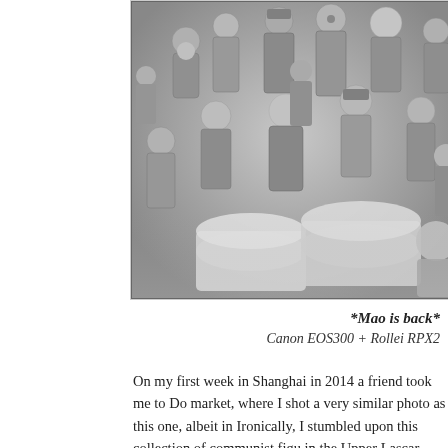[Figure (photo): Black and white photograph of numerous Chinese communist figurines/statuettes densely packed together, showing Mao Zedong and other figures in military and civilian attire, with some cylindrical objects in the foreground.]
*Mao is back*
Canon EOS300 + Rollei RPX2
On my first week in Shanghai in 2014 a friend took me to Do... market, where I shot a very similar photo as this one, albeit in... Ironically, I stumbled upon this collection of communist figu... in the Upper Lascar Row flea market. It's a bit like my 8 year...